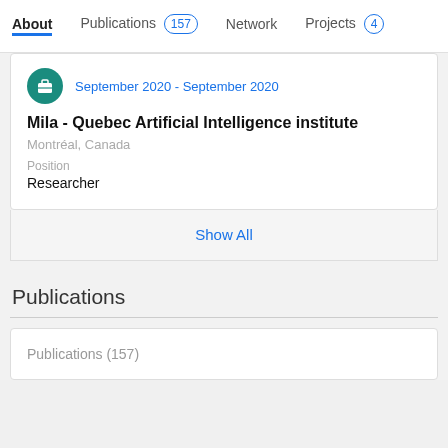About  Publications 157  Network  Projects 4
September 2020 - September 2020
Mila - Quebec Artificial Intelligence institute
Montréal, Canada
Position
Researcher
Show All
Publications
Publications (157)